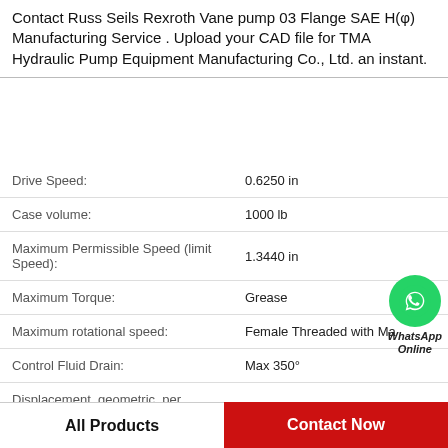Contact Russ Seils Rexroth Vane pump 03 Flange SAE H(φ) Manufacturing Service . Upload your CAD file for TMA Hydraulic Pump Equipment Manufacturing Co., Ltd. an instant.
| Parameter | Value |
| --- | --- |
| Drive Speed: | 0.6250 in |
| Case volume: | 1000 lb |
| Maximum Permissible Speed (limit Speed): | 1.3440 in |
| Maximum Torque: | Grease |
| Maximum rotational speed: | Female Threaded with Ma |
| Control Fluid Drain: | Max 350° |
| Displacement, geometric, per revolution: | 5/8-18 |
[Figure (logo): WhatsApp Online green circle icon with phone symbol and 'WhatsApp Online' italic text label]
All Products
Contact Now